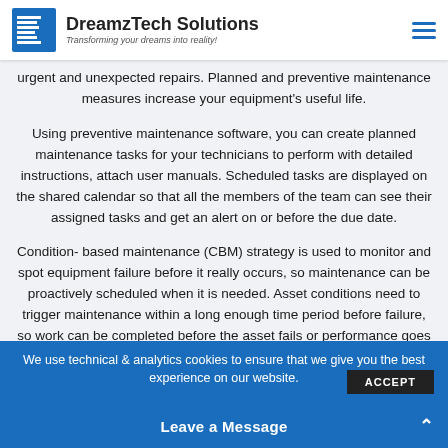DreamzTech Solutions — Transforming your dreams into reality!
urgent and unexpected repairs. Planned and preventive maintenance measures increase your equipment's useful life.
Using preventive maintenance software, you can create planned maintenance tasks for your technicians to perform with detailed instructions, attach user manuals. Scheduled tasks are displayed on the shared calendar so that all the members of the team can see their assigned tasks and get an alert on or before the due date.
Condition- based maintenance (CBM) strategy is used to monitor and spot equipment failure before it really occurs, so maintenance can be proactively scheduled when it is needed. Asset conditions need to trigger maintenance within a long enough time period before failure, so work can be completed before the asset fails or performance goes below the optimal
We use technical & analytics cookies to ensure that we give you the best experience on our website. ACCEPT
Leave a Message